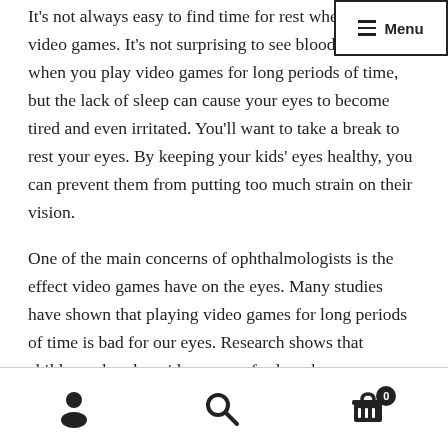[Figure (screenshot): Navigation menu button with hamburger icon and 'Menu' text in a bordered box, top right]
It's not always easy to find time for rest when playing video games. It's not surprising to see bloodshot eyes when you play video games for long periods of time, but the lack of sleep can cause your eyes to become tired and even irritated. You'll want to take a break to rest your eyes. By keeping your kids' eyes healthy, you can prevent them from putting too much strain on their vision.
One of the main concerns of ophthalmologists is the effect video games have on the eyes. Many studies have shown that playing video games for long periods of time is bad for our eyes. Research shows that children who play video games for long hours can experience headaches, fatigue, and blurred vision. It is important to remember to take breaks from video games and get sufficient rest.
[Figure (screenshot): Bottom navigation bar with user/profile icon, search icon, and shopping cart icon with badge showing 0]